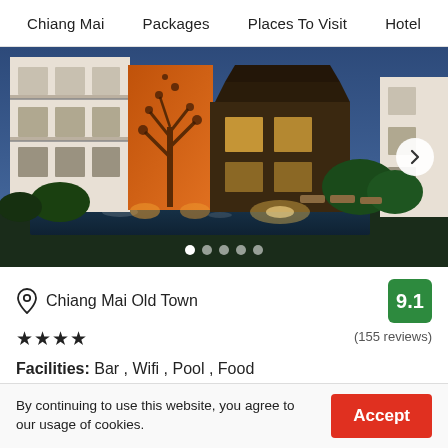Chiang Mai   Packages   Places To Visit   Hotel
[Figure (photo): Hotel exterior at night showing multi-story building with orange/red accent wall with tree motif, illuminated pool, and tropical garden with warm lighting]
Chiang Mai Old Town
9.1
★★★★
(155 reviews)
Facilities: Bar , Wifi , Pool , Food
✓ 4 star hotel with 6 room options
By continuing to use this website, you agree to our usage of cookies.